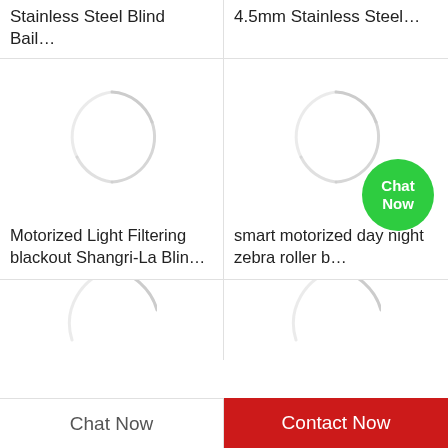Stainless Steel Blind Bail…
4.5mm Stainless Steel…
[Figure (screenshot): Product image loading spinner for Motorized Light Filtering blackout Shangri-La Blin…]
Motorized Light Filtering blackout Shangri-La Blin…
[Figure (screenshot): Product image loading spinner for smart motorized day night zebra roller blind]
smart motorized day night zebra roller b…
[Figure (screenshot): Partial product image loading spinner (bottom left)]
[Figure (screenshot): Partial product image loading spinner (bottom right)]
Chat Now
Contact Now